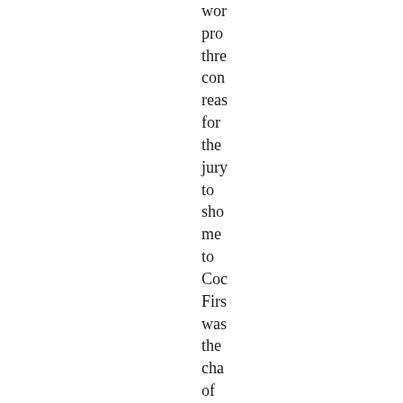wor pro thre con reas for the jury to sho me to Coc Firs was the cha of the def him Joh Coc